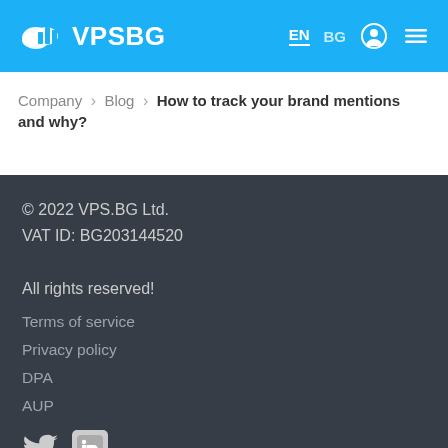VPSBG — EN BG navigation header
Company > Blog > How to track your brand mentions and why?
© 2022 VPS.BG Ltd.
VAT ID: BG203144520

All rights reserved!
Terms of service
Privacy policy
DPA
AUP
Company